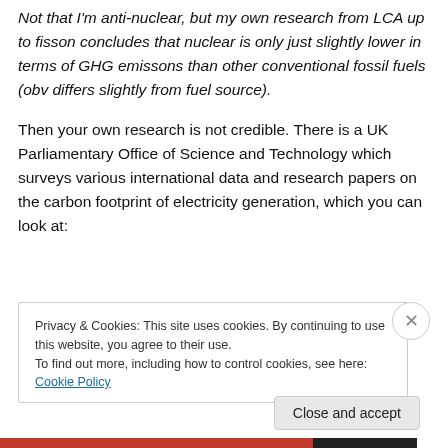Not that I'm anti-nuclear, but my own research from LCA up to fisson concludes that nuclear is only just slightly lower in terms of GHG emissons than other conventional fossil fuels (obv differs slightly from fuel source).
Then your own research is not credible. There is a UK Parliamentary Office of Science and Technology which surveys various international data and research papers on the carbon footprint of electricity generation, which you can look at:
Privacy & Cookies: This site uses cookies. By continuing to use this website, you agree to their use.
To find out more, including how to control cookies, see here: Cookie Policy